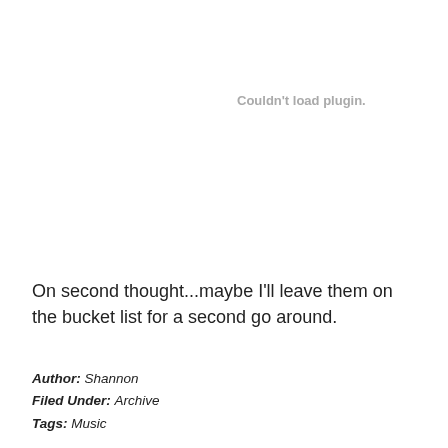Couldn't load plugin.
On second thought...maybe I'll leave them on the bucket list for a second go around.
Author: Shannon
Filed Under: Archive
Tags: Music